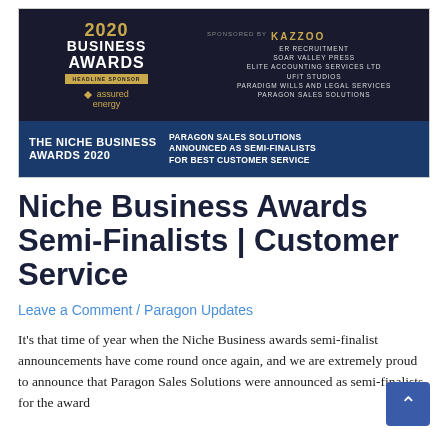[Figure (photo): Niche Business Awards 2020 promotional banner. Left side shows '2020 Business Awards' with 'Headline Sponsor: assured energy' on dark background. Right side lists sponsors including ER Recruitment, Soar Valley Press, Elite Accounting Services Ltd, UFit Studios, Paradigm Wills and Legal Services, Paragon Sales Solutions. Bottom blue bar reads 'The Niche Business Awards 2020' on left and 'Paragon Sales Solutions Announced as Semi-Finalists for Best Customer Service' on right.]
Niche Business Awards Semi-Finalists | Customer Service
Leave a Comment / Paragon Updates
It's that time of year when the Niche Business awards semi-finalist announcements have come round once again, and we are extremely proud to announce that Paragon Sales Solutions were announced as semi-finalists for the award